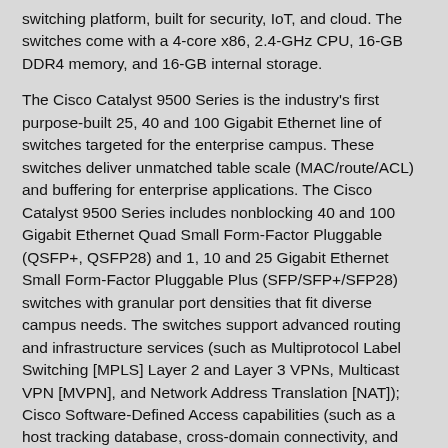switching platform, built for security, IoT, and cloud. The switches come with a 4-core x86, 2.4-GHz CPU, 16-GB DDR4 memory, and 16-GB internal storage.
The Cisco Catalyst 9500 Series is the industry's first purpose-built 25, 40 and 100 Gigabit Ethernet line of switches targeted for the enterprise campus. These switches deliver unmatched table scale (MAC/route/ACL) and buffering for enterprise applications. The Cisco Catalyst 9500 Series includes nonblocking 40 and 100 Gigabit Ethernet Quad Small Form-Factor Pluggable (QSFP+, QSFP28) and 1, 10 and 25 Gigabit Ethernet Small Form-Factor Pluggable Plus (SFP/SFP+/SFP28) switches with granular port densities that fit diverse campus needs. The switches support advanced routing and infrastructure services (such as Multiprotocol Label Switching [MPLS] Layer 2 and Layer 3 VPNs, Multicast VPN [MVPN], and Network Address Translation [NAT]); Cisco Software-Defined Access capabilities (such as a host tracking database, cross-domain connectivity, and VPN Routing and Forwarding [VRF]-aware Locator/ID Separation Protocol [LISP]); and network system virtualization with Cisco StackWise virtual technology that are critical for their placement in the campus